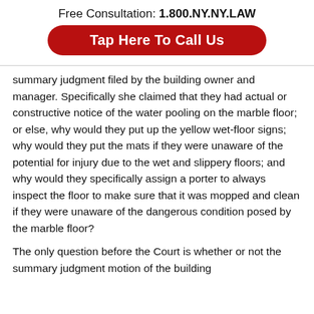Free Consultation: 1.800.NY.NY.LAW
[Figure (other): Red pill-shaped button with white text: Tap Here To Call Us]
summary judgment filed by the building owner and manager. Specifically she claimed that they had actual or constructive notice of the water pooling on the marble floor; or else, why would they put up the yellow wet-floor signs; why would they put the mats if they were unaware of the potential for injury due to the wet and slippery floors; and why would they specifically assign a porter to always inspect the floor to make sure that it was mopped and clean if they were unaware of the dangerous condition posed by the marble floor?
The only question before the Court is whether or not the summary judgment motion of the building